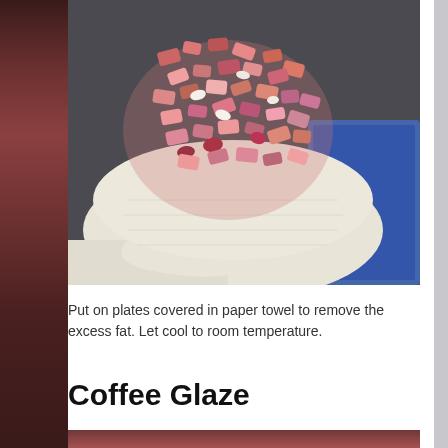[Figure (photo): Cooked chopped bacon pieces drained on paper towel on a plate, viewed from above]
Put on plates covered in paper towel to remove the excess fat. Let cool to room temperature.
Coffee Glaze
[Figure (photo): Partial view of another food photo at bottom of page]